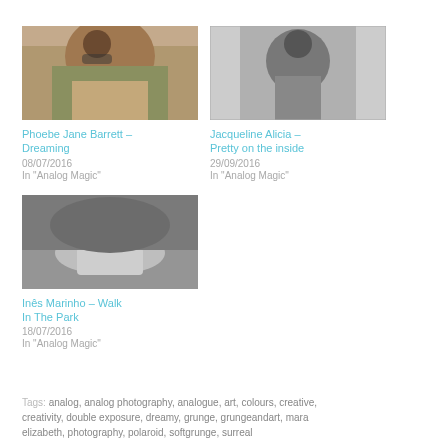[Figure (photo): Photo of a woman with sunglasses outdoors, warm tones, analog photography style]
Phoebe Jane Barrett – Dreaming
08/07/2016
In "Analog Magic"
[Figure (photo): Black and white photo of a woman standing against a wooden wall]
Jacqueline Alicia – Pretty on the inside
29/09/2016
In "Analog Magic"
[Figure (photo): Black and white photo of a person lying on the ground outdoors]
Inês Marinho – Walk In The Park
18/07/2016
In "Analog Magic"
Tags: analog, analog photography, analogue, art, colours, creative, creativity, double exposure, dreamy, grunge, grungeandart, mara elizabeth, photography, polaroid, softgrunge, surreal